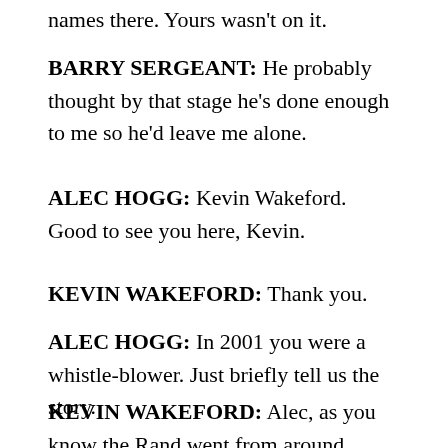names there. Yours wasn't on it.
BARRY SERGEANT: He probably thought by that stage he's done enough to me so he'd leave me alone.
ALEC HOGG: Kevin Wakeford. Good to see you here, Kevin.
KEVIN WAKEFORD: Thank you.
ALEC HOGG: In 2001 you were a whistle-blower. Just briefly tell us the story.
KEVIN WAKEFORD: Alec, as you know the Rand went from around R8.00 to R13.84 to